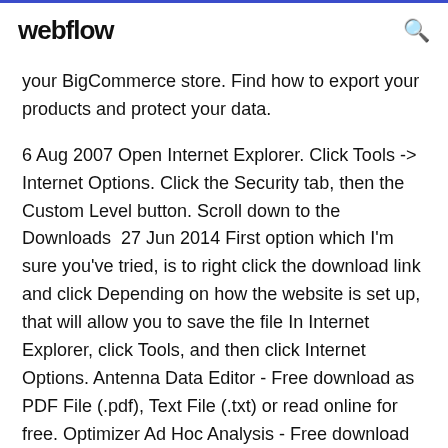webflow
your BigCommerce store. Find how to export your products and protect your data.
6 Aug 2007 Open Internet Explorer. Click Tools -> Internet Options. Click the Security tab, then the Custom Level button. Scroll down to the Downloads  27 Jun 2014 First option which I'm sure you've tried, is to right click the download link and click Depending on how the website is set up, that will allow you to save the file In Internet Explorer, click Tools, and then click Internet Options. Antenna Data Editor - Free download as PDF File (.pdf), Text File (.txt) or read online for free. Optimizer Ad Hoc Analysis - Free download as PDF File (.pdf), Text Fil…